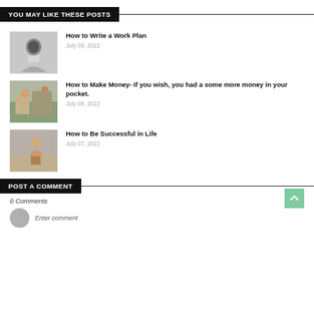YOU MAY LIKE THESE POSTS
How to Write a Work Plan
July 08, 2022
How to Make Money- If you wish, you had a some more money in your pocket.
July 08, 2022
How to Be Successful in Life
July 07, 2022
POST A COMMENT
0 Comments
Enter comment